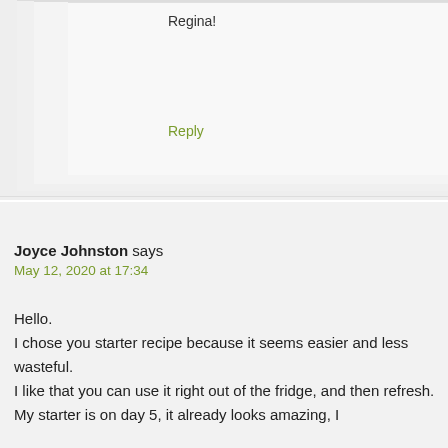Regina!
Reply
Joyce Johnston says
May 12, 2020 at 17:34
Hello.
I chose you starter recipe because it seems easier and less wasteful.
I like that you can use it right out of the fridge, and then refresh.
My starter is on day 5, it already looks amazing, I